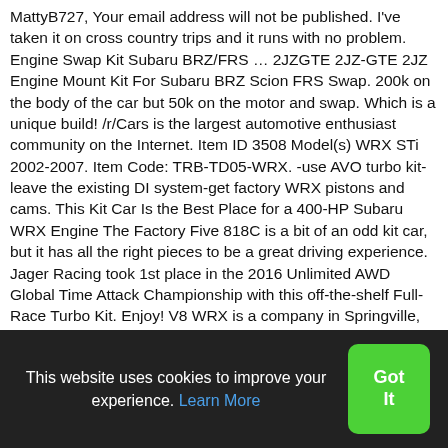MattyB727, Your email address will not be published. I've taken it on cross country trips and it runs with no problem. Engine Swap Kit Subaru BRZ/FRS … 2JZGTE 2JZ-GTE 2JZ Engine Mount Kit For Subaru BRZ Scion FRS Swap. 200k on the body of the car but 50k on the motor and swap. Which is a unique build! /r/Cars is the largest automotive enthusiast community on the Internet. Item ID 3508 Model(s) WRX STi 2002-2007. Item Code: TRB-TD05-WRX. -use AVO turbo kit-leave the existing DI system-get factory WRX pistons and cams. This Kit Car Is the Best Place for a 400-HP Subaru WRX Engine The Factory Five 818C is a bit of an odd kit car, but it has all the right pieces to be a great driving experience. Jager Racing took 1st place in the 2016 Unlimited AWD Global Time Attack Championship with this off-the-shelf Full-Race Turbo Kit. Enjoy! V8 WRX is a company in Springville, Alabama that specializes in making LSx V8 swap parts for Subaru vehicles. We are a participant in the Amazon Services LLC Associates
This website uses cookies to improve your experience. Learn More
Got It